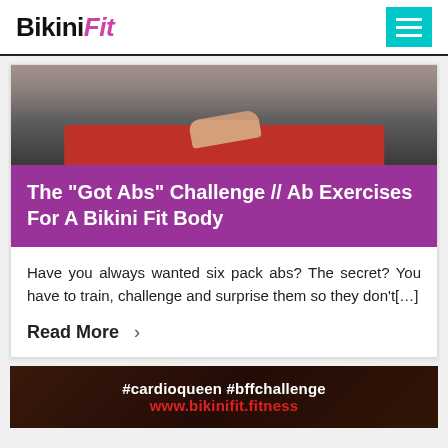BikiniFit
[Figure (photo): Person in workout clothes with hands placed on a red exercise mat on a dark gym floor]
The “Got Abs” Challenge // Ab Exercises For A Bikini Fit Body
Have you always wanted six pack abs? The secret? You have to train, challenge and surprise them so they don’t[…]
Read More ›
[Figure (photo): Dark background banner image with white text reading #cardioqueen #bffchallenge and red text reading www.bikinifit.fitness]